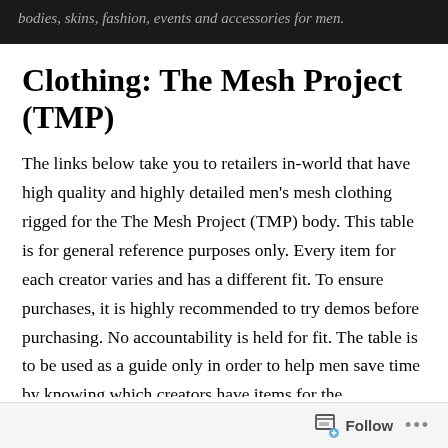bodies, skins, fashion, events and accessories for men.
Clothing: The Mesh Project (TMP)
The links below take you to retailers in-world that have high quality and highly detailed men's mesh clothing rigged for the The Mesh Project (TMP) body. This table is for general reference purposes only. Every item for each creator varies and has a different fit. To ensure purchases, it is highly recommended to try demos before purchasing. No accountability is held for fit. The table is to be used as a guide only in order to help men save time by knowing which creators have items for the
Follow ...